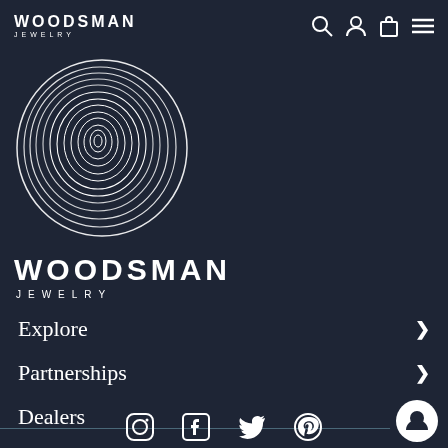WOODSMAN JEWELRY
[Figure (logo): Woodsman Jewelry wood grain ring logo — circular concentric lines forming a tree ring pattern in white on dark background]
WOODSMAN JEWELRY
Explore
Partnerships
Dealers
[Figure (illustration): Social media icons: Instagram, Facebook, Twitter, Pinterest]